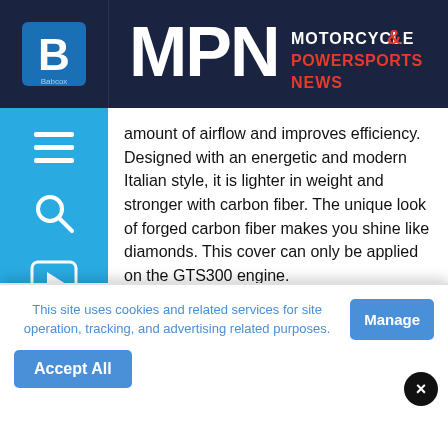MPN MOTORCYCLE & POWERSPORTS NEWS
amount of airflow and improves efficiency. Designed with an energetic and modern Italian style, it is lighter in weight and stronger with carbon fiber. The unique look of forged carbon fiber makes you shine like diamonds. This cover can only be applied on the GTS300 engine.
MSRP: $450
[Figure (screenshot): Social share buttons: Facebook, Twitter, Pinterest, Email]
This site uses cookies and related services for site operation, tracking, and advertising related purposes.
Manage
Accept All